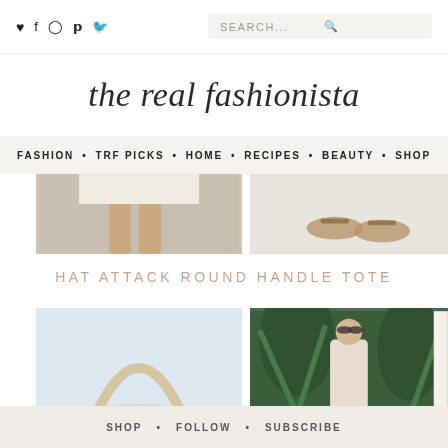♥  f  ⊙  p  𝕏   SEARCH...
the real fashionista
FASHION • TRF PICKS • HOME • RECIPES • BEAUTY • SHOP
[Figure (photo): Two fashion photos cropped at top: left shows legs in a white skirt/dress, right shows woman's feet with brown sandals on light floor]
HAT ATTACK ROUND HANDLE TOTE
[Figure (photo): Two product/lifestyle photos: left shows a round handle tote bag on light blue background, right shows a woman in sunglasses and beige knit top standing among tropical green plants]
SHOP  •  FOLLOW  •  SUBSCRIBE